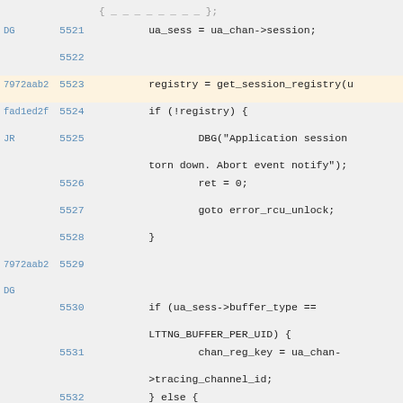Code listing lines 5521-5533 with git blame annotations
DG 5521   ua_sess = ua_chan->session;
5522
7972aab2 5523   registry = get_session_registry(u
fad1ed2f 5524   if (!registry) {
JR 5525       DBG("Application session torn down. Abort event notify");
5526       ret = 0;
5527       goto error_rcu_unlock;
5528   }
7972aab2 5529
DG 5530   if (ua_sess->buffer_type == LTTNG_BUFFER_PER_UID) {
5531       chan_reg_key = ua_chan->tracing_channel_id;
5532   } else {
5533       chan_reg_key = ua_chan->k